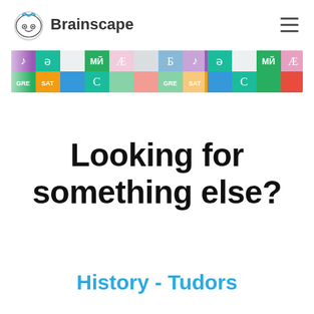Brainscape
[Figure (screenshot): Brainscape flashcard banner showing colorful subject tiles with phonetic symbols, musical notes, GRE, SAT labels in green, orange, teal, and purple tiles repeating in a horizontal strip.]
Looking for something else?
History - Tudors